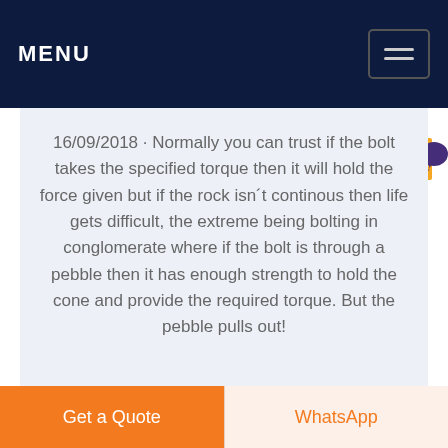MENU
16/09/2018 · Normally you can trust if the bolt takes the specified torque then it will hold the force given but if the rock isn´t continous then life gets difficult, the extreme being bolting in conglomerate where if the bolt is through a pebble then it has enough strength to hold the cone and provide the required torque. But the pebble pulls out!
[Figure (screenshot): Gray gradient strip at bottom of page, partially visible]
Get a Quote
WhatsApp